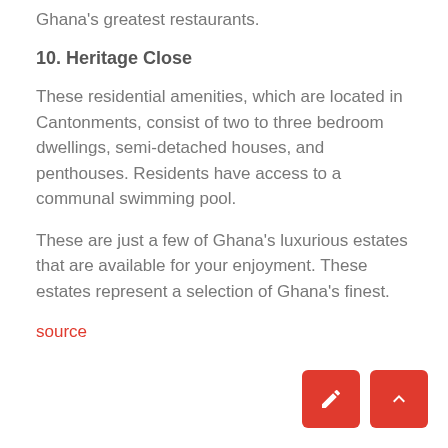Ghana's greatest restaurants.
10. Heritage Close
These residential amenities, which are located in Cantonments, consist of two to three bedroom dwellings, semi-detached houses, and penthouses. Residents have access to a communal swimming pool.
These are just a few of Ghana's luxurious estates that are available for your enjoyment. These estates represent a selection of Ghana's finest.
source